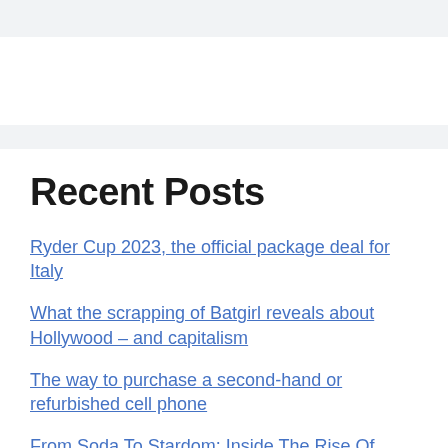Recent Posts
Ryder Cup 2023, the official package deal for Italy
What the scrapping of Batgirl reveals about Hollywood – and capitalism
The way to purchase a second-hand or refurbished cell phone
From Soda To Stardom: Inside The Rise Of Sebastian Baez | ATP Tour